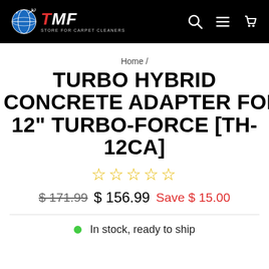TMF Store for Carpet Cleaners — navigation header
Home /
TURBO HYBRID CONCRETE ADAPTER FOR 12" TURBO-FORCE [TH-12CA]
☆☆☆☆☆ (star rating, 0 reviews)
$171.99  $156.99  Save $15.00
In stock, ready to ship